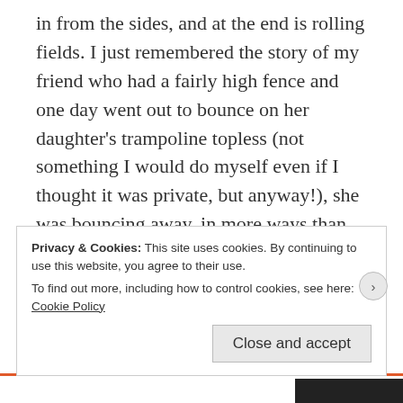in from the sides, and at the end is rolling fields. I just remembered the story of my friend who had a fairly high fence and one day went out to bounce on her daughter's trampoline topless (not something I would do myself even if I thought it was private, but anyway!), she was bouncing away, in more ways than one, for several minutes, and then did a half turn jump and saw that the jumping made her higher than the fence, and there in his backyard was her neighbour, just sitting on a sun-lounger watching her!
Privacy & Cookies: This site uses cookies. By continuing to use this website, you agree to their use.
To find out more, including how to control cookies, see here: Cookie Policy